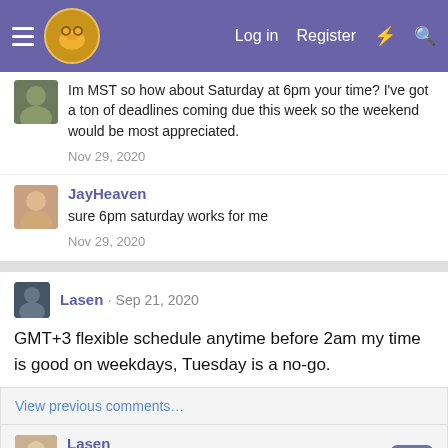Log in  Register
Im MST so how about Saturday at 6pm your time? I've got a ton of deadlines coming due this week so the weekend would be most appreciated.
Nov 29, 2020
JayHeaven
sure 6pm saturday works for me
Nov 29, 2020
Lasen · Sep 21, 2020
GMT+3 flexible schedule anytime before 2am my time is good on weekdays, Tuesday is a no-go.
View previous comments…
Lasen
alrighty see you then! Expect me to recycle.
Sep 21, 2020